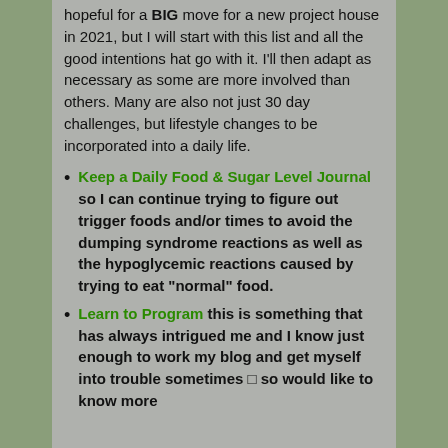hopeful for a BIG move for a new project house in 2021, but I will start with this list and all the good intentions hat go with it. I'll then adapt as necessary as some are more involved than others. Many are also not just 30 day challenges, but lifestyle changes to be incorporated into a daily life.
Keep a Daily Food & Sugar Level Journal so I can continue trying to figure out trigger foods and/or times to avoid the dumping syndrome reactions as well as the hypoglycemic reactions caused by trying to eat “normal” food.
Learn to Program this is something that has always intrigued me and I know just enough to work my blog and get myself into trouble sometimes □ so would like to know more